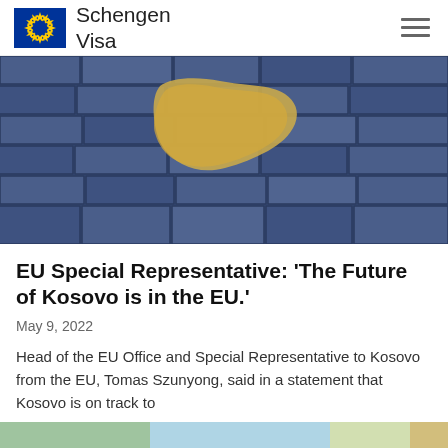Schengen Visa
[Figure (photo): Blue brick wall with a golden/tan map shape painted or peeling off, resembling the Kosovo region, on a textured blue painted brick background.]
EU Special Representative: ‘The Future of Kosovo is in the EU.’
May 9, 2022
Head of the EU Office and Special Representative to Kosovo from the EU, Tomas Szunyong, said in a statement that Kosovo is on track to
[Figure (photo): Partial view of a second article image, blurred/cropped, showing green and blue colors.]
This website uses cookies to improve your experience. We'll assume you're ok with this, but you can opt-out if you wish. Cookie settings ACCEPT